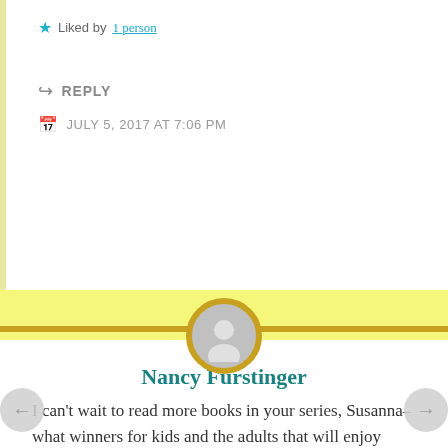★ Liked by 1 person
↪ REPLY
JULY 5, 2017 AT 7:06 PM
Nancy Furstinger
I can't wait to read more books in your series, Susanna–what winners for kids and the adults that will enjoy repeat readings:-) I love the Madeline series (from my childhood) and Curious George series, which I read repeatedly to my younger brother!